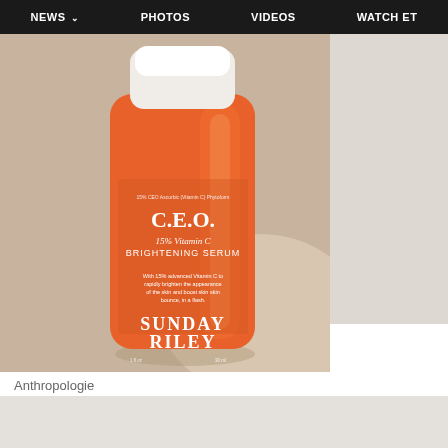NEWS  PHOTOS  VIDEOS  WATCH ET
[Figure (photo): Sunday Riley C.E.O. 15% Vitamin C Brightening Serum orange bottle with white cap on beige background, photographed by Anthropologie]
Anthropologie